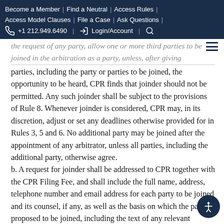Become a Member | Find a Neutral | Access Rules | Access Model Clauses | File a Case | Ask Questions | +1 212.949.6490 | Login/Account |
the request of any party, allow one or more third parties to be joined in the arbitration as a party, unless, after giving parties, including the party or parties to be joined, the opportunity to be heard, CPR finds that joinder should not be permitted. Any such joinder shall be subject to the provisions of Rule 8. Whenever joinder is considered, CPR may, in its discretion, adjust or set any deadlines otherwise provided for in Rules 3, 5 and 6. No additional party may be joined after the appointment of any arbitrator, unless all parties, including the additional party, otherwise agree.
b. A request for joinder shall be addressed to CPR together with the CPR Filing Fee, and shall include the full name, address, telephone number and email address for each party to be joined and its counsel, if any, as well as the basis on which the party is proposed to be joined, including the text of any relevant arbitration clause or separate